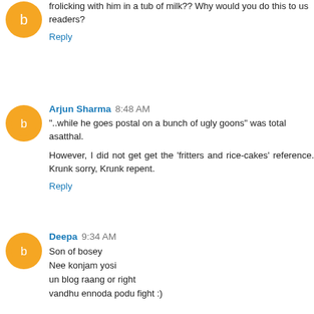frolicking with him in a tub of milk?? Why would you do this to us readers?
Reply
Arjun Sharma 8:48 AM
"..while he goes postal on a bunch of ugly goons" was total asatthal.
However, I did not get get the 'fritters and rice-cakes' reference. Krunk sorry, Krunk repent.
Reply
Deepa 9:34 AM
Son of bosey
Nee konjam yosi
un blog raang or right
vandhu ennoda podu fight :)